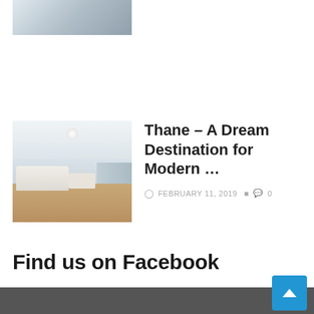[Figure (photo): Partial top of a card showing an architectural/blueprint style image, cropped at the top of the page]
[Figure (photo): Modern minimalist interior room with white sofas, wooden floor, and built-in shelving]
Thane – A Dream Destination for Modern …
FEBRUARY 11, 2019  0
Find us on Facebook